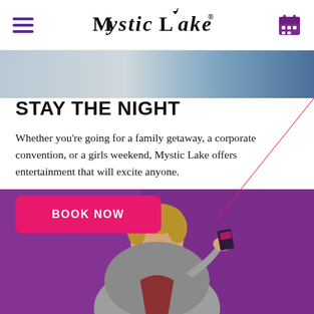Mystic Lake
[Figure (photo): Top portion of a photo showing a person from the shoulders up, partially visible at the top of the page]
STAY THE NIGHT
Whether you’re going for a family getaway, a corporate convention, or a girls weekend, Mystic Lake offers entertainment that will excite anyone.
BOOK NOW
[Figure (photo): A young man in a grey shirt holding up a dark card (loyalty/casino card) against a purple background]